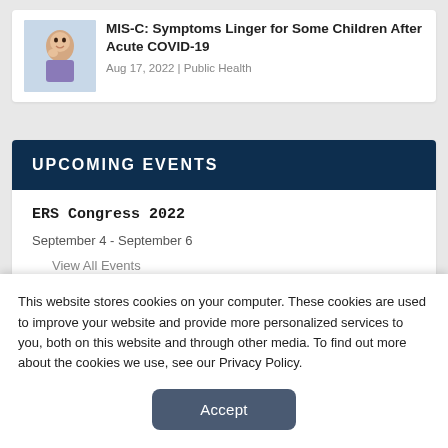[Figure (photo): Thumbnail photo of a baby/infant in a purple outfit]
MIS-C: Symptoms Linger for Some Children After Acute COVID-19
Aug 17, 2022 | Public Health
UPCOMING EVENTS
ERS Congress 2022
September 4 - September 6
View All Events
This website stores cookies on your computer. These cookies are used to improve your website and provide more personalized services to you, both on this website and through other media. To find out more about the cookies we use, see our Privacy Policy.